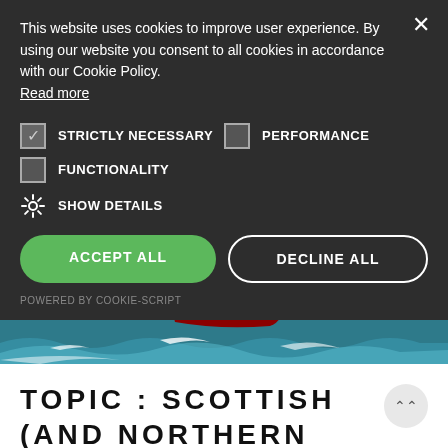This website uses cookies to improve user experience. By using our website you consent to all cookies in accordance with our Cookie Policy. Read more
☑ STRICTLY NECESSARY
☐ PERFORMANCE
☐ FUNCTIONALITY
⚙ SHOW DETAILS
ACCEPT ALL
DECLINE ALL
POWERED BY COOKIE-SCRIPT
[Figure (photo): Photograph of a red-hulled sailing boat cutting through choppy sea water with white foam waves]
TOPIC : SCOTTISH (AND NORTHERN ENGLISH!) MERLINS